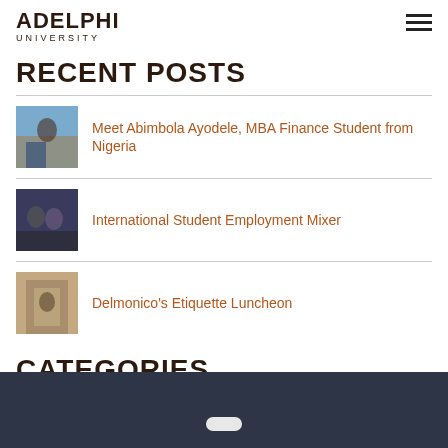ADELPHI UNIVERSITY
RECENT POSTS
Meet Abimbola Ayodele, MBA Finance Student from Nigeria
International Student Employment Mixer
Delmonico’s Etiquette Luncheon
CATEGORIES